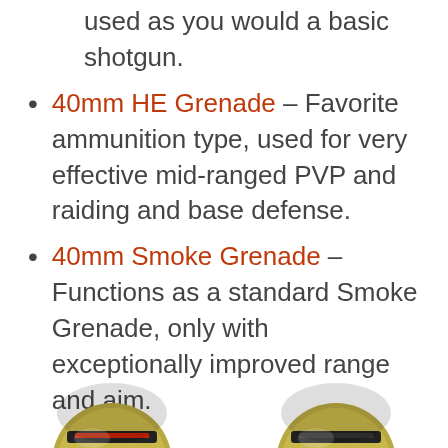used as you would a basic shotgun.
40mm HE Grenade – Favorite ammunition type, used for very effective mid-ranged PVP and raiding and base defense.
40mm Smoke Grenade – Functions as a standard Smoke Grenade, only with exceptionally improved range and aim.
Ammo used by the Multiple Grenade Launcher
[Figure (photo): Two grenade launcher ammunition rounds shown partially at the bottom of the page]
[Figure (photo): Second grenade launcher ammunition round shown partially at the bottom right of the page]